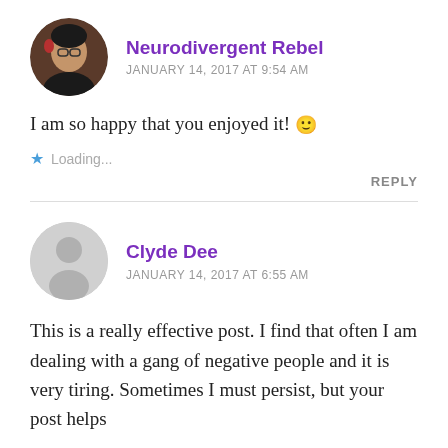[Figure (photo): Circular avatar photo of Neurodivergent Rebel, a person with glasses and reddish-tipped hair against a dark background]
Neurodivergent Rebel
JANUARY 14, 2017 AT 9:54 AM
I am so happy that you enjoyed it! 🙂
★ Loading...
REPLY
[Figure (illustration): Generic circular gray avatar silhouette icon for Clyde Dee]
Clyde Dee
JANUARY 14, 2017 AT 6:55 AM
This is a really effective post. I find that often I am dealing with a gang of negative people and it is very tiring. Sometimes I must persist, but your post helps